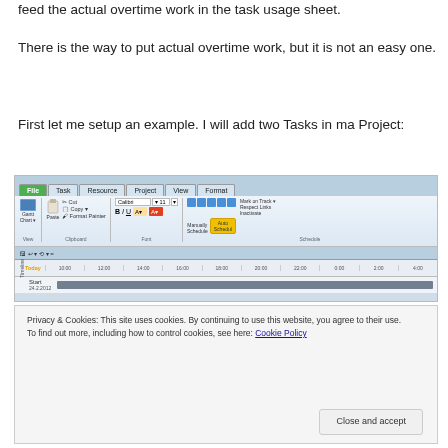feed the actual overtime work in the task usage sheet.
There is the way to put actual overtime work, but it is not an easy one.
First let me setup an example. I will add two Tasks in ma Project:
[Figure (screenshot): Microsoft Project ribbon interface showing File, Task, Resource, Project, View, Format tabs with toolbar icons for clipboard, font formatting, and schedule options. Below shows a Timeline view with Start bar dated 24.2.2012.]
Privacy & Cookies: This site uses cookies. By continuing to use this website, you agree to their use. To find out more, including how to control cookies, see here: Cookie Policy
Close and accept